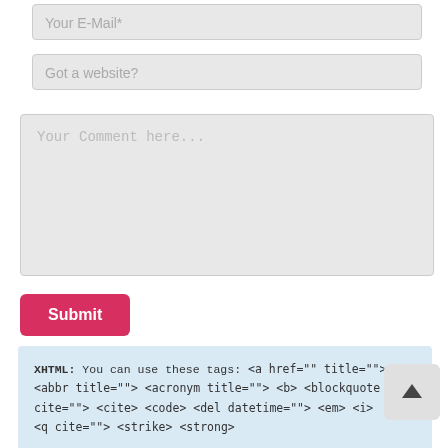Your E-Mail*
Got a website?
Your Comment here...
Submit
XHTML: You can use these tags: <a href="" title=""> <abbr title=""> <acronym title=""> <b> <blockquote cite=""> <cite> <code> <del datetime=""> <em> <i> <q cite=""> <strike> <strong>